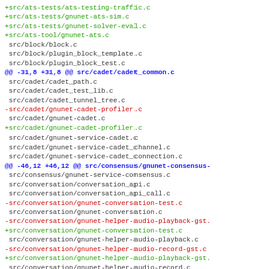Diff/patch code listing showing file additions, deletions, and context lines including src/ats-tests, src/block, src/cadet, src/consensus, and src/conversation paths.